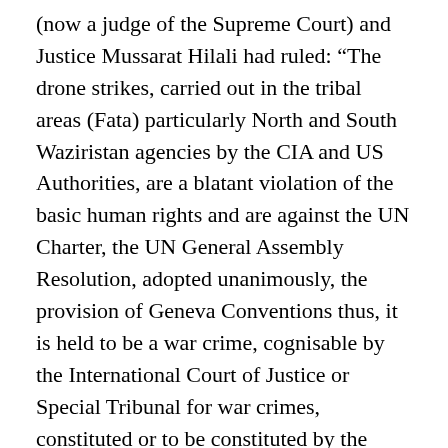(now a judge of the Supreme Court) and Justice Mussarat Hilali had ruled: “The drone strikes, carried out in the tribal areas (Fata) particularly North and South Waziristan agencies by the CIA and US Authorities, are a blatant violation of the basic human rights and are against the UN Charter, the UN General Assembly Resolution, adopted unanimously, the provision of Geneva Conventions thus, it is held to be a war crime, cognisable by the International Court of Justice or Special Tribunal for war crimes, constituted or to be constituted by the UNO for this purpose.”
The court had delivered the verdict in four almost identical writ petitions and had ordered: “The government of Pakistan and its security forces shall ensure that in future such drone strikes are not conducted and carried out within the sovereign territory of Pakistan. Proper warning be administered in this regard and if that does not work, the government of Pakistan and State institutions, particularly the security forces, shall have the right